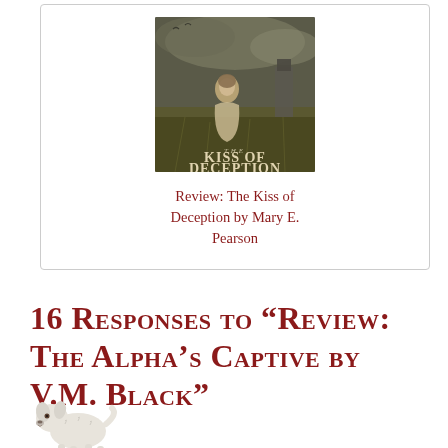[Figure (illustration): Book cover of 'The Kiss of Deception' showing a young woman in a dress standing in a field with a dramatic cloudy sky and a tower in the background]
Review: The Kiss of Deception by Mary E. Pearson
16 Responses to “Review: The Alpha’s Captive by V.M. Black”
[Figure (illustration): Small illustration of a white fluffy dog (appears to be a Bichon Frise or similar breed)]